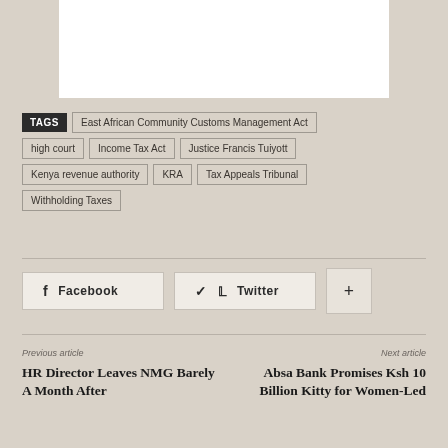[Figure (photo): White image/photo placeholder at top of page]
TAGS  East African Community Customs Management Act  high court  Income Tax Act  Justice Francis Tuiyott  Kenya revenue authority  KRA  Tax Appeals Tribunal  Withholding Taxes
Facebook  Twitter  +
Previous article
HR Director Leaves NMG Barely A Month After
Next article
Absa Bank Promises Ksh 10 Billion Kitty for Women-Led